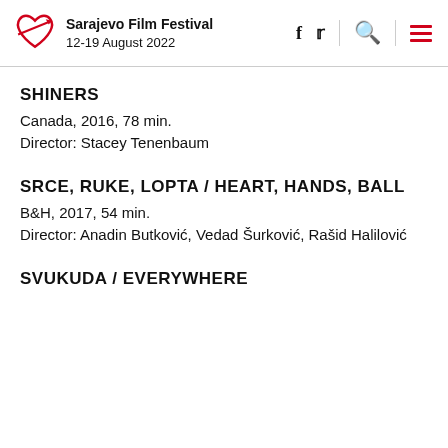Sarajevo Film Festival 12-19 August 2022
SHINERS
Canada, 2016, 78 min.
Director: Stacey Tenenbaum
SRCE, RUKE, LOPTA / HEART, HANDS, BALL
B&H, 2017, 54 min.
Director: Anadin Butković, Vedad Šurković, Rašid Halilović
SVUKUDA / EVERYWHERE